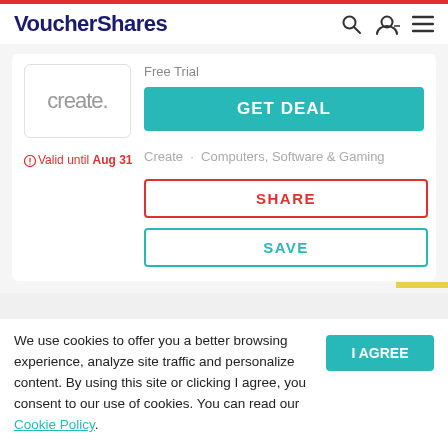VoucherShares
[Figure (logo): create. logo box with light gray text]
Free Trial
GET DEAL
Valid until Aug 31
Create · Computers, Software & Gaming
SHARE
SAVE
We use cookies to offer you a better browsing experience, analyze site traffic and personalize content. By using this site or clicking I agree, you consent to our use of cookies. You can read our Cookie Policy.
I AGREE